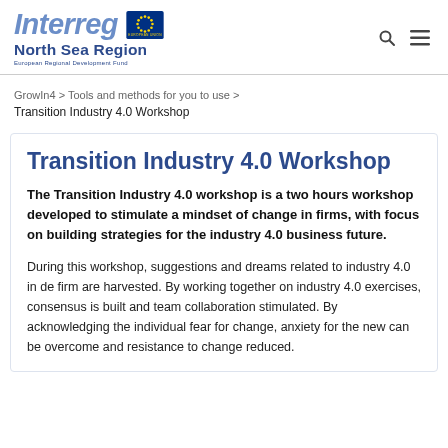Interreg North Sea Region — European Regional Development Fund
GrowIn4 > Tools and methods for you to use > Transition Industry 4.0 Workshop
Transition Industry 4.0 Workshop
The Transition Industry 4.0 workshop is a two hours workshop developed to stimulate a mindset of change in firms, with focus on building strategies for the industry 4.0 business future.
During this workshop, suggestions and dreams related to industry 4.0 in de firm are harvested. By working together on industry 4.0 exercises, consensus is built and team collaboration stimulated. By acknowledging the individual fear for change, anxiety for the new can be overcome and resistance to change reduced.